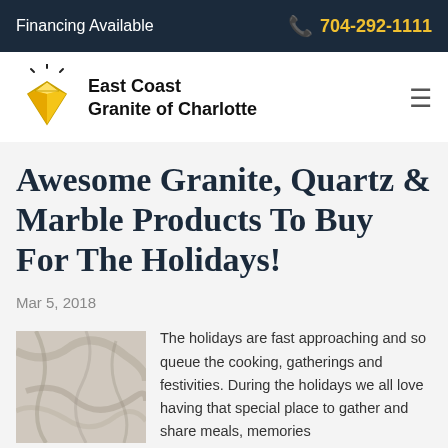Financing Available | 704-292-1111
[Figure (logo): East Coast Granite of Charlotte logo with diamond gem icon and company name]
Awesome Granite, Quartz & Marble Products To Buy For The Holidays!
Mar 5, 2018
[Figure (photo): Close-up photograph of marble stone surface with grey and white veining]
The holidays are fast approaching and so queue the cooking, gatherings and festivities. During the holidays we all love having that special place to gather and share meals, memories and share the future. No ell d